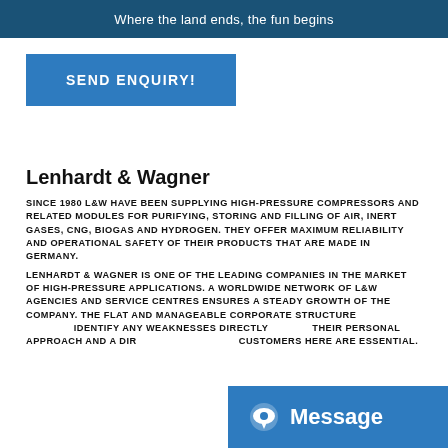Where the land ends, the fun begins
SEND ENQUIRY!
Lenhardt & Wagner
SINCE 1980 L&W HAVE BEEN SUPPLYING HIGH-PRESSURE COMPRESSORS AND RELATED MODULES FOR PURIFYING, STORING AND FILLING OF AIR, INERT GASES, CNG, BIOGAS AND HYDROGEN. THEY OFFER MAXIMUM RELIABILITY AND OPERATIONAL SAFETY OF THEIR PRODUCTS THAT ARE MADE IN GERMANY.
LENHARDT & WAGNER IS ONE OF THE LEADING COMPANIES IN THE MARKET OF HIGH-PRESSURE APPLICATIONS. A WORLDWIDE NETWORK OF L&W AGENCIES AND SERVICE CENTRES ENSURES A STEADY GROWTH OF THE COMPANY. THE FLAT AND MANAGEABLE CORPORATE STRUCTURE ALLOWS THEM TO IDENTIFY ANY WEAKNESSES DIRECTLY. THEIR VALUES, THEIR PERSONAL APPROACH AND A DIRECT CONTACT WITH THEIR CUSTOMERS HERE ARE ESSENTIAL.
Message